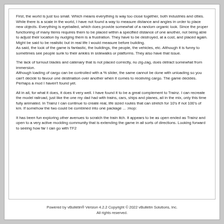First, the world is just too small. Which means everything is way too close together, both industries and cities.
While there is a scale in the world, I have not found a way to measure distance and angles in order to place new objects. Everything is eyeballed, which does provide somewhat of a random organic look. Since the proper functioning of many items requires them to be placed within a specified distance of one another, not being able to adjust their location by nudging them is a frustration. They have to be destroyed, at a cost, and placed again. Might be said to be realistic but in real life I would measure before building.
As said, the look of the game is fantastic, the buildings, the people, the vehicles, etc. Although it is funny to sometimes see people sunk to their ankles in sidewalks or platforms. They also have that issue.
The lack of turnout blades and catenary that is not placed correctly, no zig-zag, does detract somewhat from immersion.
Although loading of cargo can be controlled with a % slider, the same cannot be done with unloading so you can't decide to favour one destination over another when it comes to receiving cargo. The game decides. Perhaps a mod I haven't found yet.
All in all, for what it does, it does it very well. I have found it to be a great complement to Trainz. I can recreate the model railroad, just like the one my dad had with trains, cars, ships and planes, all in the mix, only this time fully animated. In Trainz I can continue to create real, life sized routes that can stretch for 10's if not 100's of km. If somehow the two could be combined into one package ... :mop:
It has been fun exploring other avenues to scratch the train itch. It appears to be as open ended as Trainz and open to a very active modding community that is extending the game in all sorts of directions. Looking forward to seeing how far I can go with TF2
Powered by vBulletin® Version 4.2.2 Copyright © 2022 vBulletin Solutions, Inc.
All rights reserved.